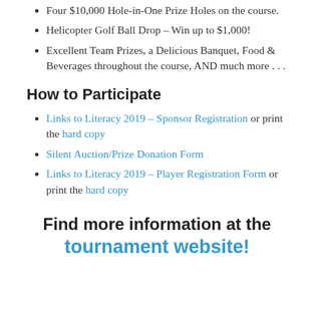Four $10,000 Hole-in-One Prize Holes on the course.
Helicopter Golf Ball Drop – Win up to $1,000!
Excellent Team Prizes, a Delicious Banquet, Food & Beverages throughout the course, AND much more . . .
How to Participate
Links to Literacy 2019 – Sponsor Registration or print the hard copy
Silent Auction/Prize Donation Form
Links to Literacy 2019 – Player Registration Form or print the hard copy
Find more information at the tournament website!